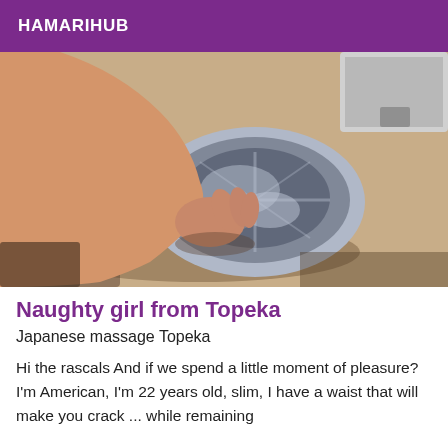HAMARIHUB
[Figure (photo): A person's hand and arm near a chrome/metallic bowl or hubcap on a floor, viewed from above.]
Naughty girl from Topeka
Japanese massage Topeka
Hi the rascals And if we spend a little moment of pleasure? I'm American, I'm 22 years old, slim, I have a waist that will make you crack ... while remaining